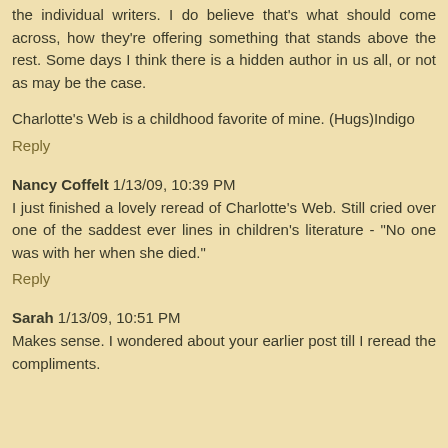the individual writers. I do believe that's what should come across, how they're offering something that stands above the rest. Some days I think there is a hidden author in us all, or not as may be the case.
Charlotte's Web is a childhood favorite of mine. (Hugs)Indigo
Reply
Nancy Coffelt  1/13/09, 10:39 PM
I just finished a lovely reread of Charlotte's Web. Still cried over one of the saddest ever lines in children's literature - "No one was with her when she died."
Reply
Sarah  1/13/09, 10:51 PM
Makes sense. I wondered about your earlier post till I reread the compliments.